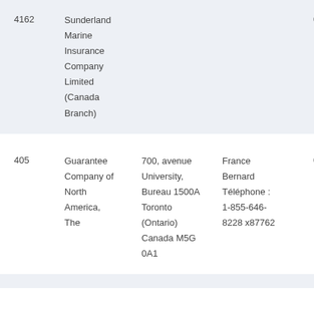| 4162 | Sunderland Marine Insurance Company Limited (Canada Branch) |  |  | 02/17/2021 |
| 405 | Guarantee Company of North America, The | 700, avenue University, Bureau 1500A Toronto (Ontario) Canada M5G 0A1 | France Bernard Téléphone : 1-855-646-8228 x87762 | 04/01/2021 |